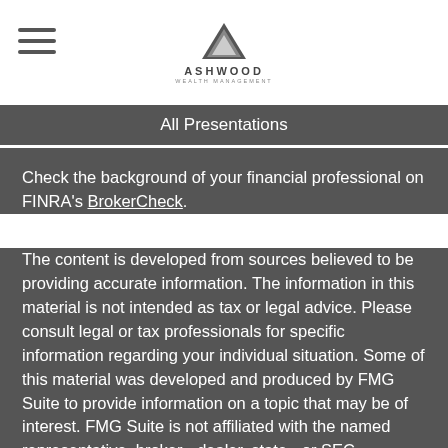[Figure (logo): Ashwood Wealth Management logo with triangle graphic and text]
All Presentations
Check the background of your financial professional on FINRA's BrokerCheck.
The content is developed from sources believed to be providing accurate information. The information in this material is not intended as tax or legal advice. Please consult legal or tax professionals for specific information regarding your individual situation. Some of this material was developed and produced by FMG Suite to provide information on a topic that may be of interest. FMG Suite is not affiliated with the named representative, broker - dealer, state - or SEC - registered investment advisory firm. The opinions expressed and materi